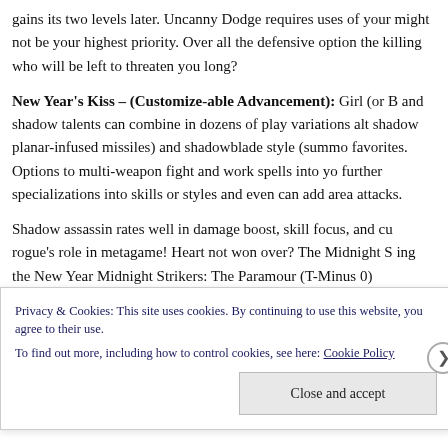gains its two levels later. Uncanny Dodge requires uses of your might not be your highest priority. Over all the defensive option the killing who will be left to threaten you long?
New Year's Kiss – (Customize-able Advancement): Girl (or B and shadow talents can combine in dozens of play variations alt shadow planar-infused missiles) and shadowblade style (summo favorites. Options to multi-weapon fight and work spells into yo further specializations into skills or styles and even can add area attacks.
Shadow assassin rates well in damage boost, skill focus, and cu rogue's role in metagame! Heart not won over? The Midnight S ing the New Year Midnight Strikers: The Paramour (T-Minus 0)
Privacy & Cookies: This site uses cookies. By continuing to use this website, you agree to their use.
To find out more, including how to control cookies, see here: Cookie Policy
Close and accept